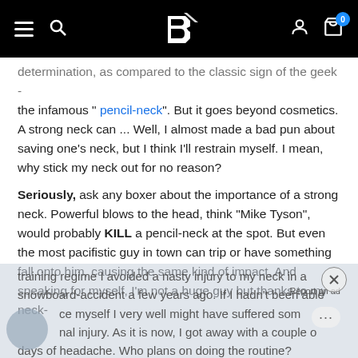Bodybuilding.com navigation bar with logo, search, user and cart icons
determination, as compared to the classic sign of the geek - the infamous " pencil-neck". But it goes beyond cosmetics. A strong neck can ... Well, I almost made a bad pun about saving one's neck, but I think I'll restrain myself. I mean, why stick my neck out for no reason?
Seriously, ask any boxer about the importance of a strong neck. Powerful blows to the head, think "Mike Tyson", would probably KILL a pencil-neck at the spot. But even the most pacifistic guy in town can trip or have something fall onto him, causing the same kind of impact. And speaking for myself, I'm not a huge guy but thanks to my neck-training regime I avoided a nasty injury to my neck in a snowboard-accident a few years ago. If I hadn't been able to brace myself I very well might have suffered some spinal injury. As it is now, I got away with a couple of days of headache. Who plans on doing the routine?